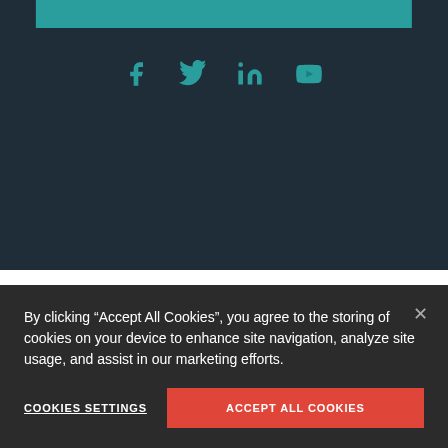[Figure (illustration): Teal horizontal bar at top of dark navy section]
[Figure (illustration): Social media icons: Facebook, Twitter, LinkedIn, YouTube in teal on dark navy background]
QUICK LINKS
Join Our Call To Action
What We Do
By clicking “Accept All Cookies”, you agree to the storing of cookies on your device to enhance site navigation, analyze site usage, and assist in our marketing efforts.
COOKIES SETTINGS
ACCEPT ALL COOKIES